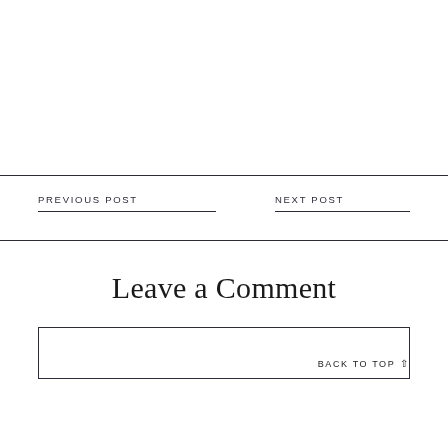PREVIOUS POST
NEXT POST
Leave a Comment
BACK TO TOP ↑